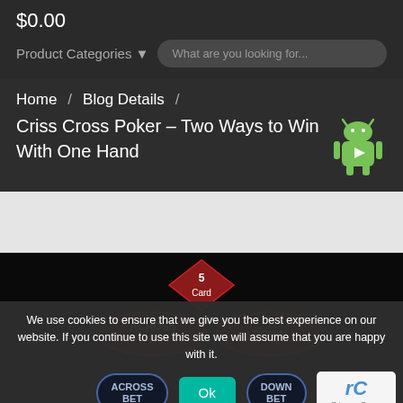$0.00
Product Categories ▾
What are you looking for...
Home / Blog Details / Criss Cross Poker – Two Ways to Win With One Hand
[Figure (screenshot): Criss Cross Poker game interface showing ACROSS and DOWN betting buttons with a 5 Card logo, overlaid with a cookie consent banner and reCAPTCHA widget]
We use cookies to ensure that we give you the best experience on our website. If you continue to use this site we will assume that you are happy with it.
Ok